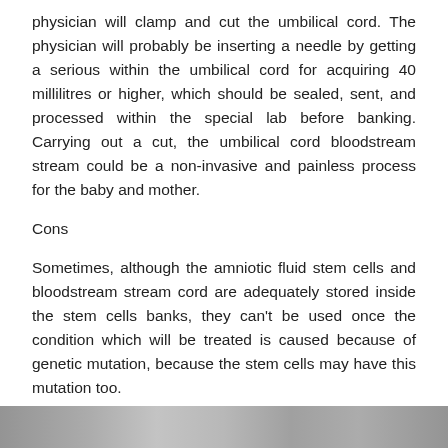physician will clamp and cut the umbilical cord. The physician will probably be inserting a needle by getting a serious within the umbilical cord for acquiring 40 millilitres or higher, which should be sealed, sent, and processed within the special lab before banking. Carrying out a cut, the umbilical cord bloodstream stream could be a non-invasive and painless process for the baby and mother.
Cons
Sometimes, although the amniotic fluid stem cells and bloodstream stream cord are adequately stored inside the stem cells banks, they can't be used once the condition which will be treated is caused because of genetic mutation, because the stem cells may have this mutation too.
[Figure (photo): A horizontal strip of photographs at the bottom of the page, partially visible.]